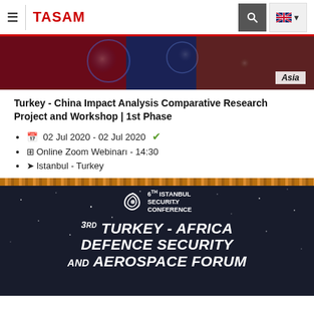≡  TASAM  [search] [EN flag]
[Figure (photo): Decorative banner image with blue and red tones, labeled 'Asia' in the bottom right corner]
Turkey - China Impact Analysis Comparative Research Project and Workshop | 1st Phase
02 Jul 2020 - 02 Jul 2020 ✓
Online Zoom Webinarı - 14:30
Istanbul - Turkey
[Figure (photo): 3rd Turkey - Africa Defence Security and Aerospace Forum banner with 6th Istanbul Security Conference logo, dark background with star field and ornate top border]